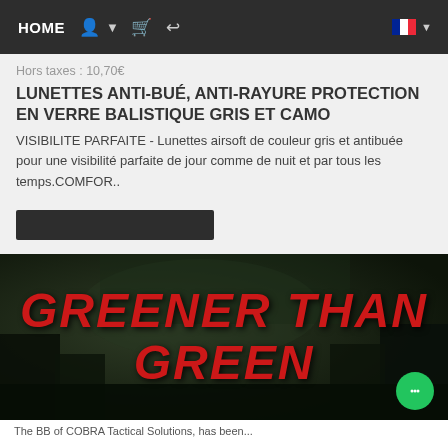HOME
Hors taxes : 10,70€
LUNETTES ANTI-BUÉ, ANTI-RAYURE PROTECTION EN VERRE BALISTIQUE GRIS ET CAMO
VISIBILITE PARFAITE - Lunettes airsoft de couleur gris et antibuée pour une visibilité parfaite de jour comme de nuit et par tous les temps.COMFOR..
[Figure (photo): Dark forest background with text overlay reading GREENER THAN GREEN in large red italic bold font]
The BB of COBRA Tactical Solutions, has been...